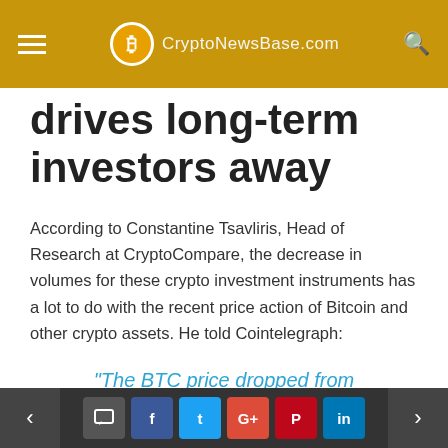CryptoNewsBase.com
drives long-term investors away
According to Constantine Tsavliris, Head of Research at CryptoCompare, the decrease in volumes for these crypto investment instruments has a lot to do with the recent price action of Bitcoin and other crypto assets. He told Cointelegraph:
“The BTC price dropped from approximately $12k to $10k at the beginning of